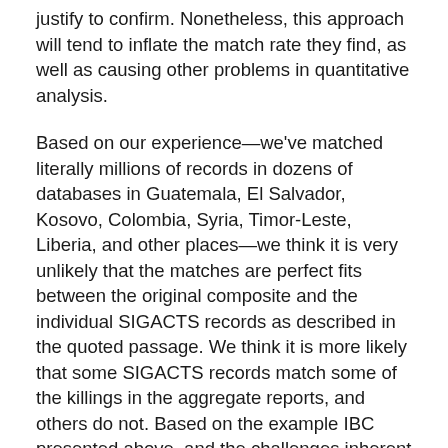justify to confirm. Nonetheless, this approach will tend to inflate the match rate they find, as well as causing other problems in quantitative analysis.
Based on our experience—we've matched literally millions of records in dozens of databases in Guatemala, El Salvador, Kosovo, Colombia, Syria, Timor-Leste, Liberia, and other places—we think it is very unlikely that the matches are perfect fits between the original composite and the individual SIGACTS records as described in the quoted passage. We think it is more likely that some SIGACTS records match some of the killings in the aggregate reports, and others do not. Based on the example IBC presented above, and the challenges inherent in matching anonymous composite records, we believe that it is likely that IBC overestimated the match rate between SIGACTS and the IBC data.